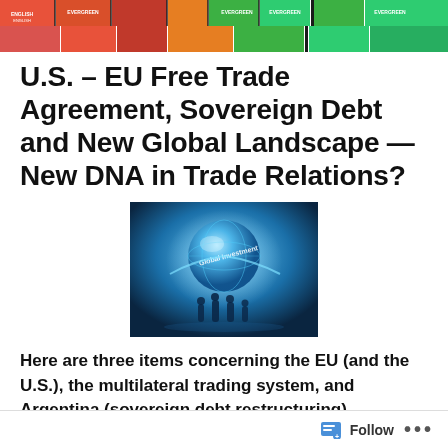[Figure (photo): Row of colorful shipping containers stacked together, seen from below, with various colored containers in orange, red, green visible with text labels.]
U.S. – EU Free Trade Agreement, Sovereign Debt and New Global Landscape — New DNA in Trade Relations?
[Figure (illustration): Digital illustration of a glowing blue globe with silhouettes of people standing around it and text 'Global Investment' visible, on a blue-toned background.]
Here are three items concerning the EU (and the U.S.), the multilateral trading system, and Argentina (sovereign debt restructuring) indicating how global
Follow  •••